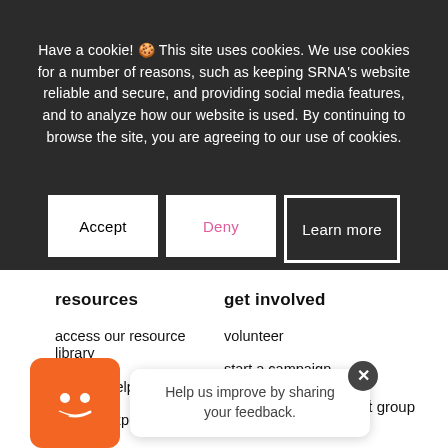Have a cookie! 🍪 This site uses cookies. We use cookies for a number of reasons, such as keeping SRNA's website reliable and secure, and providing social media features, and to analyze how our website is used. By continuing to browse the site, you are agreeing to our use of cookies.
Accept
Deny
Learn more
resources
get involved
access our resource library
volunteer
myelitis helpline
start a campaign
ask the expert podcast series
start a walk in your city
Help us improve by sharing your feedback.